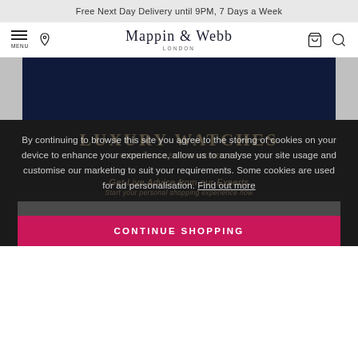Free Next Day Delivery until 9PM, 7 Days a Week
[Figure (screenshot): Mappin & Webb navigation bar with menu, location pin, logo, bag and search icons]
[Figure (photo): Dark navy hero banner area for luxury watches]
By continuing to browse this site you agree to the storing of cookies on your device to enhance your experience, allow us to analyse your site usage and customise our marketing to suit your requirements. Some cookies are used for ad personalisation. Find out more
CONTINUE SHOPPING